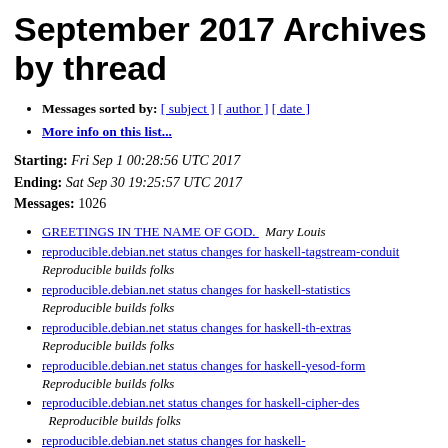September 2017 Archives by thread
Messages sorted by: [ subject ] [ author ] [ date ]
More info on this list...
Starting: Fri Sep 1 00:28:56 UTC 2017
Ending: Sat Sep 30 19:25:57 UTC 2017
Messages: 1026
GREETINGS IN THE NAME OF GOD.   Mary Louis
reproducible.debian.net status changes for haskell-tagstream-conduit   Reproducible builds folks
reproducible.debian.net status changes for haskell-statistics   Reproducible builds folks
reproducible.debian.net status changes for haskell-th-extras   Reproducible builds folks
reproducible.debian.net status changes for haskell-yesod-form   Reproducible builds folks
reproducible.debian.net status changes for haskell-cipher-des   Reproducible builds folks
reproducible.debian.net status changes for haskell-convertible   Reproducible builds folks